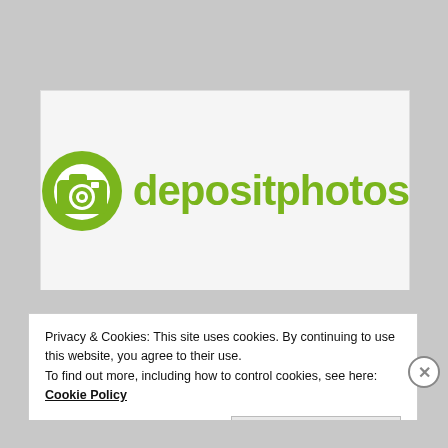[Figure (logo): Depositphotos logo: green camera icon followed by green bold text 'depositphotos']
Privacy & Cookies: This site uses cookies. By continuing to use this website, you agree to their use.
To find out more, including how to control cookies, see here:
Cookie Policy
Close and accept